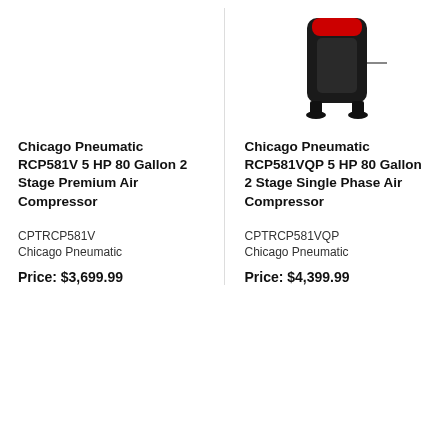[Figure (photo): Chicago Pneumatic air compressor product image (right column, partially cropped at top)]
Chicago Pneumatic RCP581V 5 HP 80 Gallon 2 Stage Premium Air Compressor
Chicago Pneumatic RCP581VQP 5 HP 80 Gallon 2 Stage Single Phase Air Compressor
CPTRCP581V
Chicago Pneumatic
CPTRCP581VQP
Chicago Pneumatic
Price: $3,699.99
Price: $4,399.99